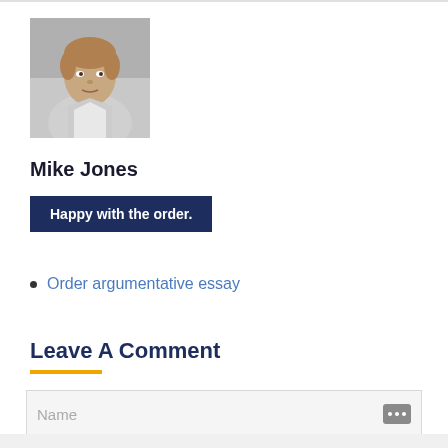[Figure (photo): Profile photo of Mike Jones, a man with light brown hair, looking toward camera, gray and white background]
Mike Jones
Happy with the order.
Order argumentative essay
Leave A Comment
Name